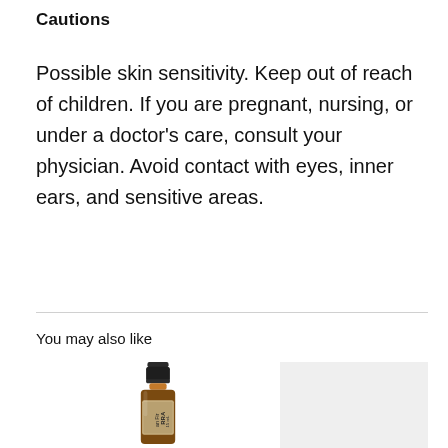Cautions
Possible skin sensitivity. Keep out of reach of children. If you are pregnant, nursing, or under a doctor's care, consult your physician. Avoid contact with eyes, inner ears, and sensitive areas.
You may also like
[Figure (photo): A small amber essential oil bottle with a dark cap labeled with 'RRA' and 'an Fir' and '15 mL', partially visible from below. Next to it is a light gray placeholder rectangle for another product.]